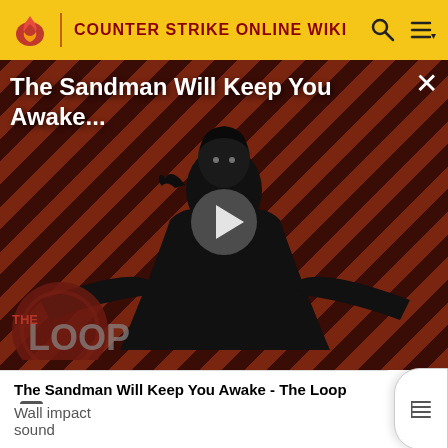COUNTER STRIKE ONLINE WIKI
[Figure (screenshot): Video thumbnail for 'The Sandman Will Keep You Awake - The Loop' showing a dark-cloaked figure against diagonal red and dark stripe background with THE LOOP logo overlay and play button]
The Sandman Will Keep You Awake - The Loop
Wall impact sound